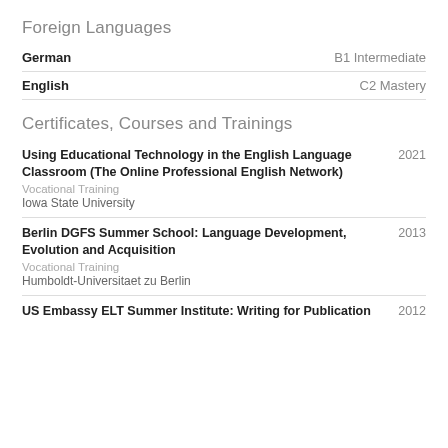Foreign Languages
| Language | Level |
| --- | --- |
| German | B1 Intermediate |
| English | C2 Mastery |
Certificates, Courses and Trainings
Using Educational Technology in the English Language Classroom (The Online Professional English Network) | 2021 | Vocational Training | Iowa State University
Berlin DGFS Summer School: Language Development, Evolution and Acquisition | 2013 | Vocational Training | Humboldt-Universitaet zu Berlin
US Embassy ELT Summer Institute: Writing for Publication | 2012